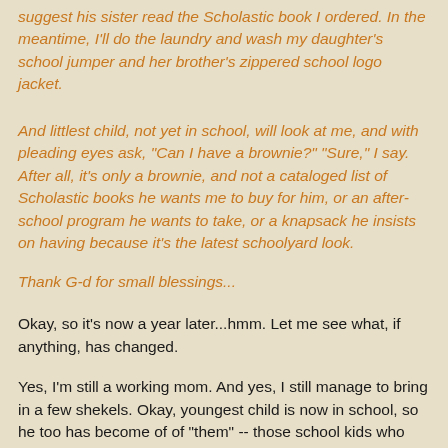suggest his sister read the Scholastic book I ordered. In the meantime, I'll do the laundry and wash my daughter's school jumper and her brother's zippered school logo jacket.
And littlest child, not yet in school, will look at me, and with pleading eyes ask, "Can I have a brownie?" "Sure," I say. After all, it's only a brownie, and not a cataloged list of Scholastic books he wants me to buy for him, or an after-school program he wants to take, or a knapsack he insists on having because it's the latest schoolyard look.
Thank G-d for small blessings...
Okay, so it's now a year later...hmm. Let me see what, if anything, has changed.
Yes, I'm still a working mom. And yes, I still manage to bring in a few shekels. Okay, youngest child is now in school, so he too has become of of "them" -- those school kids who has needs: needs supplies, needs to be included in the optional lunch program, needs trip money, needs his tuition paid. And instead of a brownie, he now needs to have a cream-cheese